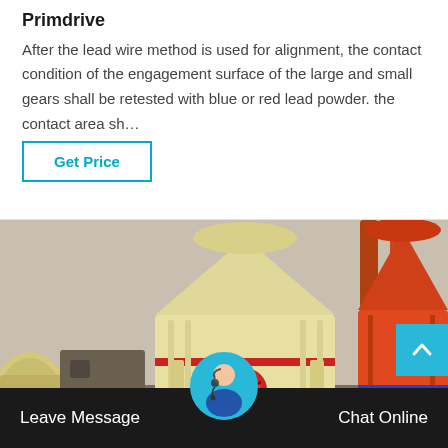Primdrive
After the lead wire method is used for alignment, the contact condition of the engagement surface of the large and small gears shall be retested with blue or red lead powder. the contact area sh…
Get Price
[Figure (photo): Industrial grinding/crushing machines — a cream-colored cone crusher and an orange-red cone crusher in an industrial setting]
Leave Message
Chat Online